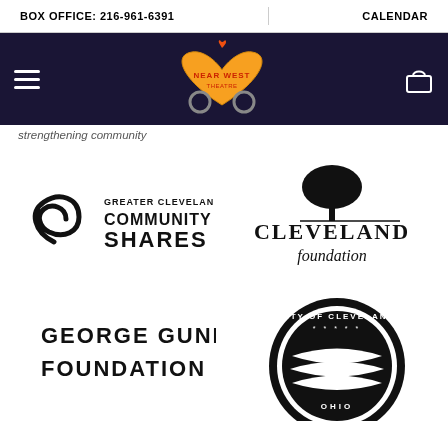BOX OFFICE: 216-961-6391    CALENDAR
[Figure (logo): Near West Theatre logo on dark navy navigation bar with hamburger menu and cart icon]
strengthening community
[Figure (logo): Greater Cleveland Community Shares logo]
[Figure (logo): Cleveland Foundation logo with tree]
[Figure (logo): George Gund Foundation logo text]
[Figure (logo): City of Cleveland Ohio circular seal logo]